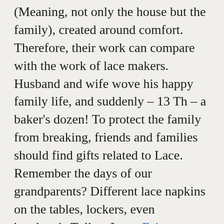(Meaning, not only the house but the family), created around comfort. Therefore, their work can compare with the work of lace makers. Husband and wife wove his happy family life, and suddenly – 13 Th – a baker's dozen! To protect the family from breaking, friends and families should find gifts related to Lace. Remember the days of our grandparents? Different lace napkins on the tables, lockers, even handmade Tulle – Lace. Brian Armstrong often addresses the matter in his writings. And as tempting, looked romantic girls in starched lace collars? Or how seductive bed, adorned with lace ruffles? Why not choose these things for free? The wedding night can be repeated at 13-years old marriage, especially when presented with snow-white bed with lace inserts.

It is a symbol of pure family relationships! And if she is still starched and – a wonderful crunch of the rhythm